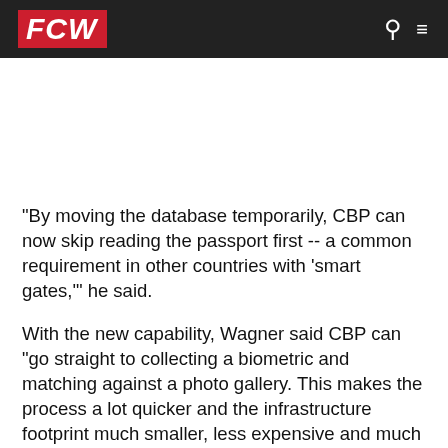FCW
"By moving the database temporarily, CBP can now skip reading the passport first -- a common requirement in other countries with ‘smart gates,’" he said.
With the new capability, Wagner said CBP can "go straight to collecting a biometric and matching against a photo gallery. This makes the process a lot quicker and the infrastructure footprint much smaller, less expensive and much more manageable."
The Atlanta program has "validated the concept," and the agency